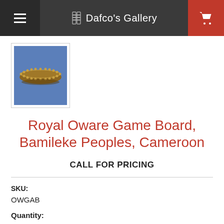Dafco's Gallery
[Figure (photo): Thumbnail image of a Royal Oware Game Board artifact from Bamileke Peoples, Cameroon — a wide shallow basket-like wooden board with carved edges, photographed against a blue background.]
Royal Oware Game Board, Bamileke Peoples, Cameroon
CALL FOR PRICING
SKU:
OWGAB
Quantity: